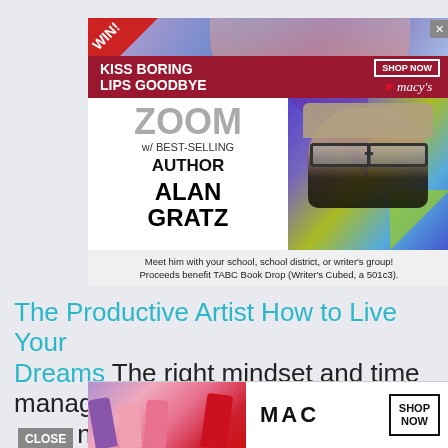[Figure (illustration): Advertisement: Macy's cosmetics ad with woman's red lips, text 'KISS BORING LIPS GOODBYE' and 'SHOP NOW' button with Macy's star logo]
[Figure (illustration): Advertisement: Zoom event promo with best-selling author Alan Gratz, showing his photo against colorful geometric background. Text: 'ZOOM w/ BEST-SELLING AUTHOR ALAN GRATZ. Meet him with your school, school district, or writer's group! Proceeds benefit TABC Book Drop (Writer's Cubed, a 501c3).']
The Productive Artist How to Live Your Dreams The right mindset and time management skills are essential ny
[Figure (illustration): Bottom advertisement: MAC cosmetics ad with lipsticks image, MAC logo, SHOP NOW button]